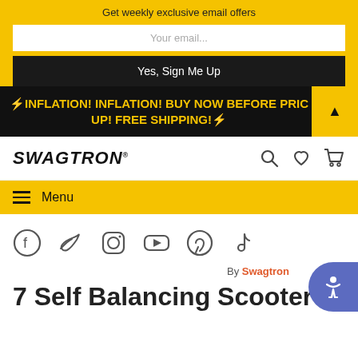Get weekly exclusive email offers
Your email...
Yes, Sign Me Up
⚡INFLATION! INFLATION! BUY NOW BEFORE PRICES GO UP! FREE SHIPPING!⚡
SWAGTRON
Menu
[Figure (infographic): Social media icons: Facebook, Twitter, Instagram, YouTube, Pinterest, TikTok]
By Swagtron
7 Self Balancing Scooter